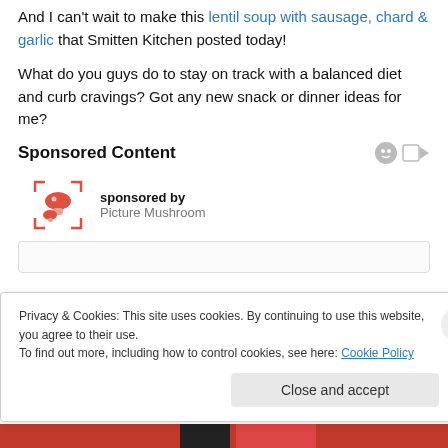And I can't wait to make this lentil soup with sausage, chard & garlic that Smitten Kitchen posted today!
What do you guys do to stay on track with a balanced diet and curb cravings? Got any new snack or dinner ideas for me?
Sponsored Content
sponsored by Picture Mushroom
Privacy & Cookies: This site uses cookies. By continuing to use this website, you agree to their use.
To find out more, including how to control cookies, see here: Cookie Policy
Close and accept